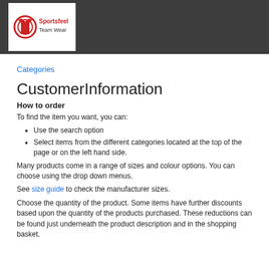[Figure (logo): SportsFeel Team Wear logo — white background with red circular icon and red/dark text]
Categories
CustomerInformation
How to order
To find the item you want, you can:
Use the search option
Select items from the different categories located at the top of the page or on the left hand side.
Many products come in a range of sizes and colour options. You can choose using the drop down menus.
See size guide to check the manufacturer sizes.
Choose the quantity of the product. Some items have further discounts based upon the quantity of the products purchased. These reductions can be found just underneath the product description and in the shopping basket.